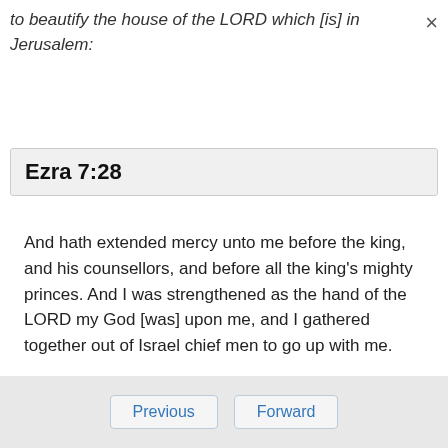to beautify the house of the LORD which [is] in Jerusalem:
Ezra 7:28
And hath extended mercy unto me before the king, and his counsellors, and before all the king's mighty princes. And I was strengthened as the hand of the LORD my God [was] upon me, and I gathered together out of Israel chief men to go up with me.
Previous  Forward